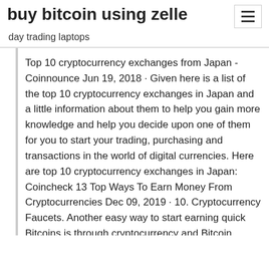buy bitcoin using zelle
day trading laptops
Top 10 cryptocurrency exchanges from Japan - Coinnounce Jun 19, 2018 · Given here is a list of the top 10 cryptocurrency exchanges in Japan and a little information about them to help you gain more knowledge and help you decide upon one of them for you to start your trading, purchasing and transactions in the world of digital currencies. Here are top 10 cryptocurrency exchanges in Japan: Coincheck 13 Top Ways To Earn Money From Cryptocurrencies Dec 09, 2019 · 10. Cryptocurrency Faucets. Another easy way to start earning quick Bitcoins is through cryptocurrency and Bitcoin faucets. For those of you who don't know what Bitcoin faucets are: 10 Best Cryptocurrency Exchanges In The World To Buy Any Altcoins Jan 28, 2020 . The Best Cryptocurrency Exchanges (Top 10) The best crypto exchanges offer the best trading platform pairs or support for the top cryptocurrency list, so you are dealing with the most fluid coins on the market. What to Look for in A good Exchange. There are a few factors to a great buy and...